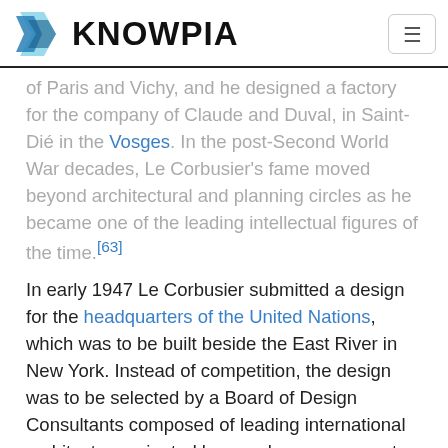KNOWPIA
of Paris and Vichy, and he designed a factory for the company of Claude and Duval, in Saint-Dié in the Vosges. In the post-Second World War decades, Le Corbusier's fame moved beyond architectural and planning circles as he became one of the leading intellectual figures of the time.[63]
In early 1947 Le Corbusier submitted a design for the headquarters of the United Nations, which was to be built beside the East River in New York. Instead of competition, the design was to be selected by a Board of Design Consultants composed of leading international architects nominated by member governments, including Le Corbusier, Oscar Nie of Brazil, Howard Robertson from Britain, Nikolai Bassov of the Soviet Union, and five others from